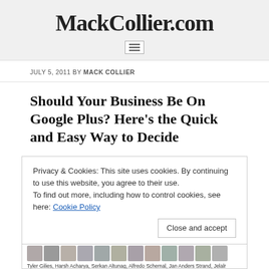MackCollier.com
JULY 5, 2011 BY MACK COLLIER
Should Your Business Be On Google Plus? Here's the Quick and Easy Way to Decide
Privacy & Cookies: This site uses cookies. By continuing to use this website, you agree to their use.
To find out more, including how to control cookies, see here: Cookie Policy
[Figure (screenshot): Screenshot of a Google+ post by Michael Dell showing he hung out with 21 people, with profile photo thumbnails and names listed below.]